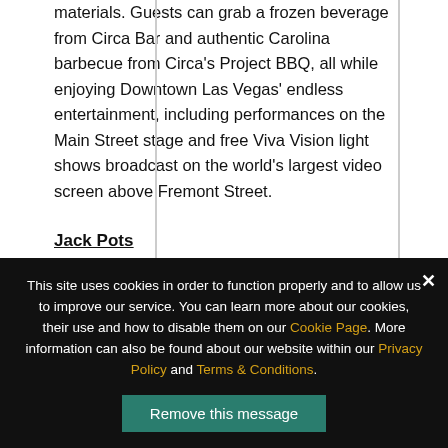materials. Guests can grab a frozen beverage from Circa Bar and authentic Carolina barbecue from Circa's Project BBQ, all while enjoying Downtown Las Vegas' endless entertainment, including performances on the Main Street stage and free Viva Vision light shows broadcast on the world's largest video screen above Fremont Street.
Jack Pots
A modern coffee stand with Vegas flair,
This site uses cookies in order to function properly and to allow us to improve our service. You can learn more about our cookies, their use and how to disable them on our Cookie Page. More information can also be found about our website within our Privacy Policy and Terms & Conditions.
Remove this message